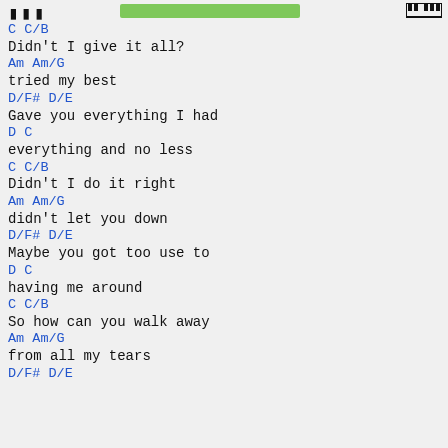... [green bar] [piano icon]
C                    C/B
Didn't I give it all?
        Am                Am/G
tried    my best
                    D/F#              D/E
Gave you everything I had
                    D         C
everything and no less
            C                C/B
Didn't I do it right
                Am                Am/G
didn't let   you down
                    D/F#              D/E
Maybe you got too use to
                D         C
having me around
                    C                C/B
So how can you walk away
                    Am            Am/G
from all my     tears
                    D/F#              D/E